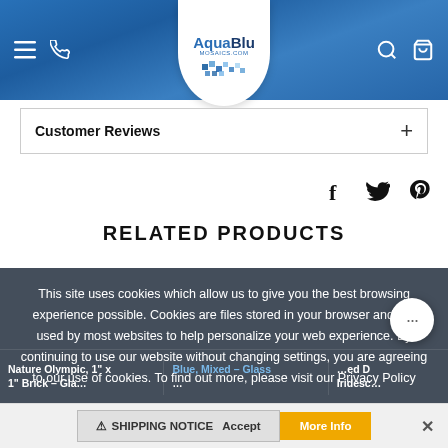AquaBlu Mosaics.com
Customer Reviews +
f  twitter  pinterest
RELATED PRODUCTS
This site uses cookies which allow us to give you the best browsing experience possible. Cookies are files stored in your browser and are used by most websites to help personalize your web experience. By continuing to use our website without changing settings, you are agreeing to our use of cookies. To find out more, please visit our Privacy Policy
Nature Olympic, 1" x 1" Brick – Gla...
Blue, Mixed – Glass ...
...ed D Iridesc...
⚠ SHIPPING NOTICE    Accept    More Info  ✕